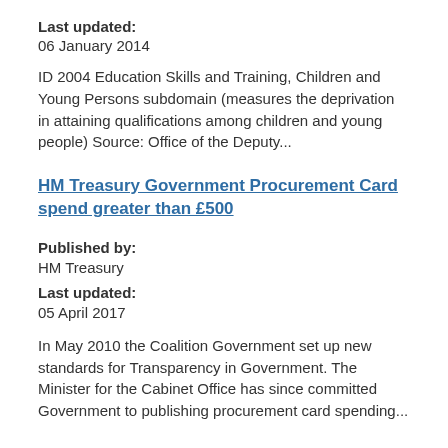Last updated:
06 January 2014
ID 2004 Education Skills and Training, Children and Young Persons subdomain (measures the deprivation in attaining qualifications among children and young people) Source: Office of the Deputy...
HM Treasury Government Procurement Card spend greater than £500
Published by:
HM Treasury
Last updated:
05 April 2017
In May 2010 the Coalition Government set up new standards for Transparency in Government. The Minister for the Cabinet Office has since committed Government to publishing procurement card spending...